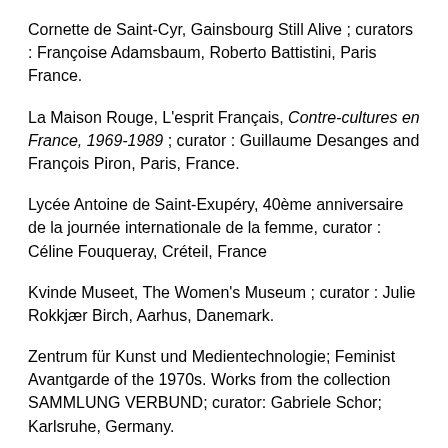Cornette de Saint-Cyr, Gainsbourg Still Alive ; curators : Françoise Adamsbaum, Roberto Battistini, Paris France.
La Maison Rouge, L'esprit Français, Contre-cultures en France, 1969-1989 ; curator : Guillaume Desanges and François Piron, Paris, France.
Lycée Antoine de Saint-Exupéry, 40ème anniversaire de la journée internationale de la femme, curator : Céline Fouqueray, Créteil, France
Kvinde Museet, The Women's Museum ; curator : Julie Rokkjær Birch, Aarhus, Danemark.
Zentrum für Kunst und Medientechnologie; Feminist Avantgarde of the 1970s. Works from the collection SAMMLUNG VERBUND; curator: Gabriele Schor; Karlsruhe, Germany.
Fondation Annenberg, curator : Patricia Lanza,Los Angeles, USA.